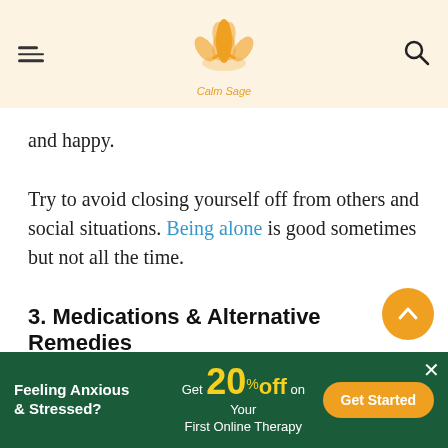Calm Sage (logo header with menu and search icons)
and happy.
Try to avoid closing yourself off from others and social situations. Being alone is good sometimes but not all the time.
3. Medications & Alternative Remedies
Several antidepressants can help you manage your symptoms of depression but it is highly recommended that you consult a physician before taking any medications. If you're not comfortable with prescribed medications, then
Feeling Anxious & Stressed? Get 20% Off on Your First Online Therapy — Get Started